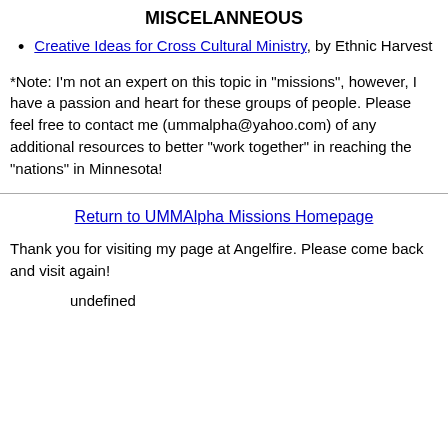MISCELANNEOUS
Creative Ideas for Cross Cultural Ministry, by Ethnic Harvest
*Note: I'm not an expert on this topic in "missions", however, I have a passion and heart for these groups of people. Please feel free to contact me (ummalpha@yahoo.com) of any additional resources to better "work together" in reaching the "nations" in Minnesota!
Return to UMMAlpha Missions Homepage
Thank you for visiting my page at Angelfire. Please come back and visit again!
undefined